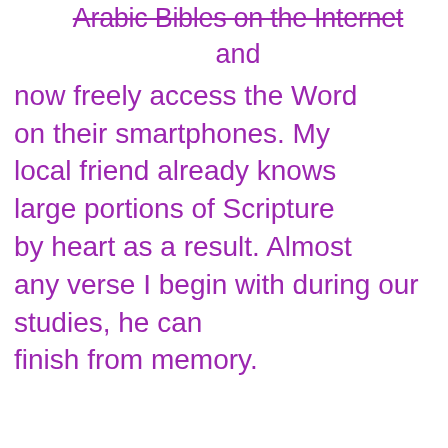Arabic Bibles on the Internet and now freely access the Word on their smartphones. My local friend already knows large portions of Scripture by heart as a result. Almost any verse I begin with during our studies, he can finish from memory.